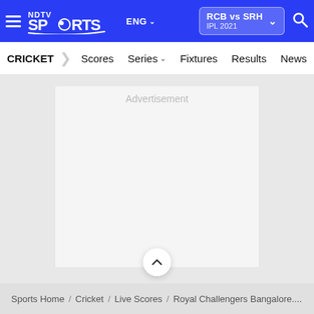NDTV Sports — ENG — RCB vs SRH IPL 2021
CRICKET   Scores   Series   Fixtures   Results   News   R
[Figure (other): Advertisement placeholder box with 'Advertisement' label in light gray]
Sports Home / Cricket / Live Scores / Royal Challengers Bangalore....